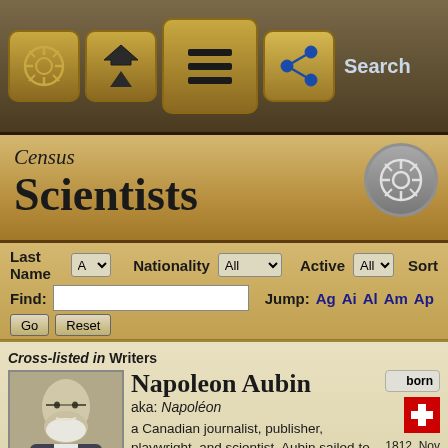Search
Census
Scientists
Last Name: A | Nationality: All | Active: All | Sort: Name
Find: [input] Go Reset | Jump: Ag Ai Al Am Ap
Cross-listed in Writers
Napoleon Aubin
aka: Napoléon
born 1812, Nov
a Canadian journalist, publisher, playwright, and scientist. Aubin sailed to the United States in 1829. In 1835 he moved shortly thereafter to Quebec City. Aubin contributed to a ... as well as publishing his own periodicals. In addition to jo... worked as a scientist and, from 1875, as the honorar...
Links (3)